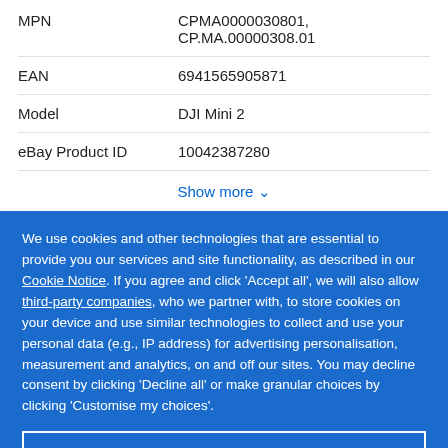| Property | Value |
| --- | --- |
| MPN | CPMA0000030801, CP.MA.00000308.01 |
| EAN | 6941565905871 |
| Model | DJI Mini 2 |
| eBay Product ID | 10042387280 |
Show more ∨
We use cookies and other technologies that are essential to provide you our services and site functionality, as described in our Cookie Notice. If you agree and click 'Accept all', we will also allow third-party companies, who we partner with, to store cookies on your device and use similar technologies to collect and use your personal data (e.g., IP address) for advertising personalisation, measurement and analytics, on and off our sites. You may decline consent by clicking 'Decline all' or make granular choices by clicking 'Customise my choices'.
Customise my choices
Decline all
Accept all